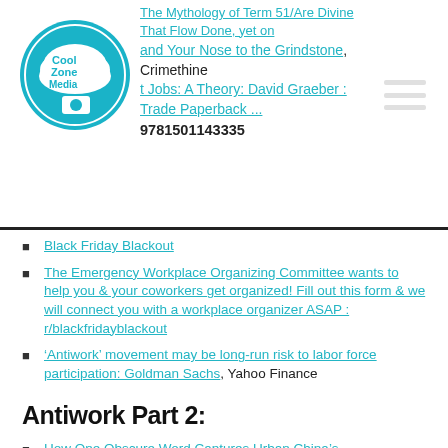Cool Zone Media logo and navigation header with partial text: '...and Your Nose to the Grindstone, Crimethine ...t Jobs: A Theory: David Graeber Trade Paperback 9781501143335'
Black Friday Blackout
The Emergency Workplace Organizing Committee wants to help you & your coworkers get organized! Fill out this form & we will connect you with a workplace organizer ASAP : r/blackfridayblackout
'Antiwork' movement may be long-run risk to labor force participation: Goldman Sachs, Yahoo Finance
Antiwork Part 2:
How One Obscure Word Captures Urban China's ...